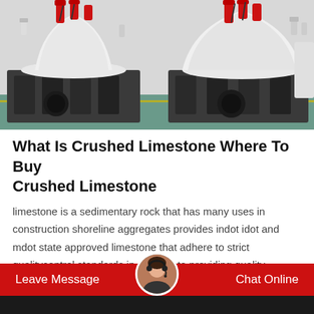[Figure (photo): Industrial cone crushers with red hydraulic components on top, white conical bodies, and dark gray heavy-duty bases, in a factory setting with green floor.]
What Is Crushed Limestone Where To Buy Crushed Limestone
limestone is a sedimentary rock that has many uses in construction shoreline aggregates provides indot idot and mdot state approved limestone that adhere to strict qualitycontrol standards in addition to providing quality limestone products shoreline aggregate.
Leave Message  Chat Online